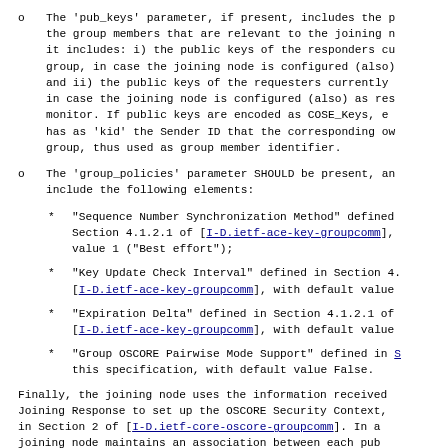The 'pub_keys' parameter, if present, includes the public keys of the group members that are relevant to the joining node. Specifically, it includes: i) the public keys of the responders currently in the group, in case the joining node is configured (also) as requester; and ii) the public keys of the requesters currently in the group, in case the joining node is configured (also) as responder or monitor. If public keys are encoded as COSE_Keys, each of them has as 'kid' the Sender ID that the corresponding owner has in the group, thus used as group member identifier.
The 'group_policies' parameter SHOULD be present, and SHOULD include the following elements:
"Sequence Number Synchronization Method" defined in Section 4.1.2.1 of [I-D.ietf-ace-key-groupcomm], with default value 1 ("Best effort");
"Key Update Check Interval" defined in Section 4.1.2.1 of [I-D.ietf-ace-key-groupcomm], with default value
"Expiration Delta" defined in Section 4.1.2.1 of [I-D.ietf-ace-key-groupcomm], with default value
"Group OSCORE Pairwise Mode Support" defined in S this specification, with default value False.
Finally, the joining node uses the information received in the Joining Response to set up the OSCORE Security Context, as defined in Section 2 of [I-D.ietf-core-oscore-groupcomm]. In a joining node maintains an association between each pub